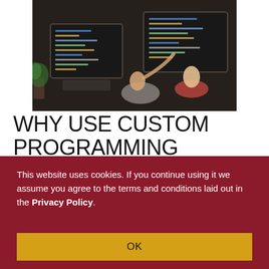[Figure (photo): Two people working at computer monitors displaying code, viewed from the side in an office setting.]
WHY USE CUSTOM PROGRAMMING SERVICES?
Businesses are complex, and each has its own unique framework. Commercial software is designed to
This website uses cookies. If you continue using it we assume you agree to the terms and conditions laid out in the Privacy Policy.